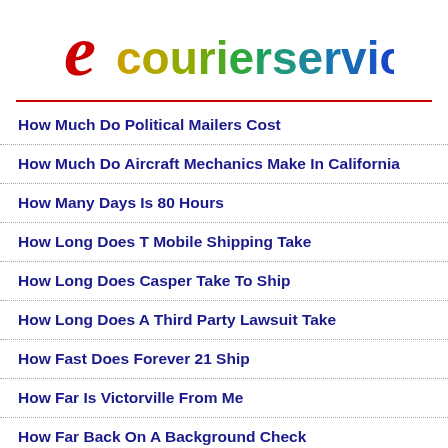[Figure (logo): ecourierservicebd logo with red cursive 'e' and multicolor gradient text 'courierservicebd']
How Much Do Political Mailers Cost
How Much Do Aircraft Mechanics Make In California
How Many Days Is 80 Hours
How Long Does T Mobile Shipping Take
How Long Does Casper Take To Ship
How Long Does A Third Party Lawsuit Take
How Fast Does Forever 21 Ship
How Far Is Victorville From Me
How Far Back On A Background Check